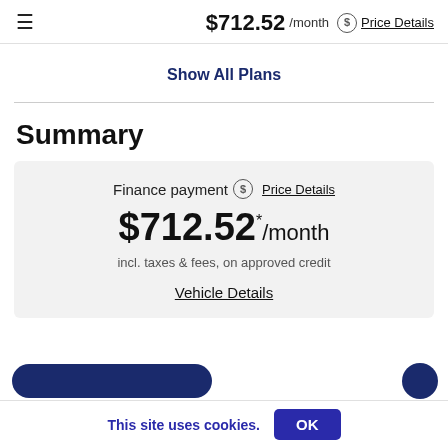$712.52 /month  Price Details
Show All Plans
Summary
Finance payment  Price Details
$712.52 * /month
incl. taxes & fees, on approved credit
Vehicle Details
This site uses cookies.  OK